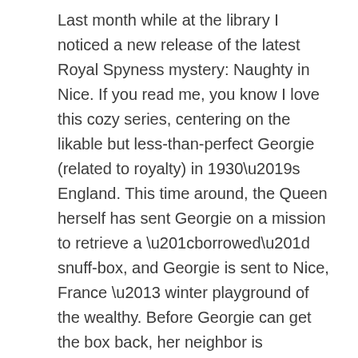Last month while at the library I noticed a new release of the latest Royal Spyness mystery: Naughty in Nice. If you read me, you know I love this cozy series, centering on the likable but less-than-perfect Georgie (related to royalty) in 1930’s England. This time around, the Queen herself has sent Georgie on a mission to retrieve a “borrowed” snuff-box, and Georgie is sent to Nice, France – winter playground of the wealthy. Before Georgie can get the box back, her neighbor is murdered; and after floundering her way through a fashion show of Coco Chanel’s line, the priceless necklace Georgie is wearing is stolen. Now she must find two items and solve a murder!
Love this series!